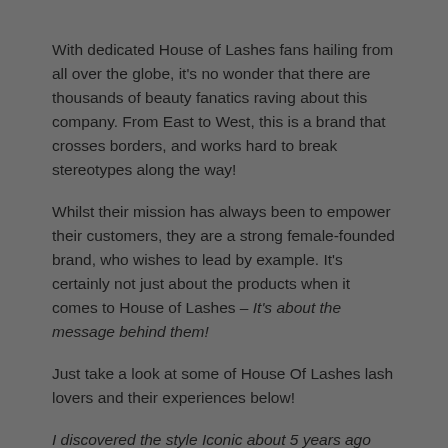With dedicated House of Lashes fans hailing from all over the globe, it's no wonder that there are thousands of beauty fanatics raving about this company. From East to West, this is a brand that crosses borders, and works hard to break stereotypes along the way!
Whilst their mission has always been to empower their customers, they are a strong female-founded brand, who wishes to lead by example. It's certainly not just about the products when it comes to House of Lashes – It's about the message behind them!
Just take a look at some of House Of Lashes lash lovers and their experiences below!
I discovered the style Iconic about 5 years ago and it's changed my life. I have yet to find lashes that fit my eye shape so well while also being able to see my eye shadow behind them. Also, truly a lifesaver as someone who doesn't always have lashes because of trichotillomania. HOL always gives me a huge confidence boost! My experience with trichotillomania isn't always consistent, but in the past year or so I've been able to